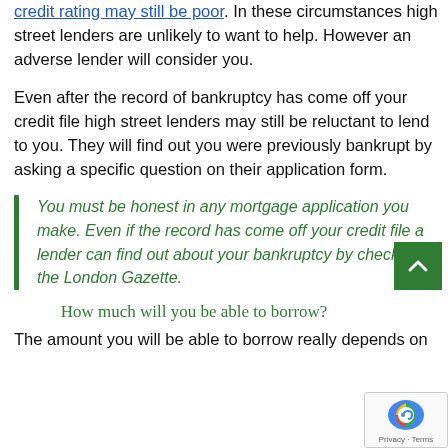credit rating may still be poor. In these circumstances high street lenders are unlikely to want to help. However an adverse lender will consider you.
Even after the record of bankruptcy has come off your credit file high street lenders may still be reluctant to lend to you. They will find out you were previously bankrupt by asking a specific question on their application form.
You must be honest in any mortgage application you make. Even if the record has come off your credit file a lender can find out about your bankruptcy by checking the London Gazette.
How much will you be able to borrow?
The amount you will be able to borrow really depends on